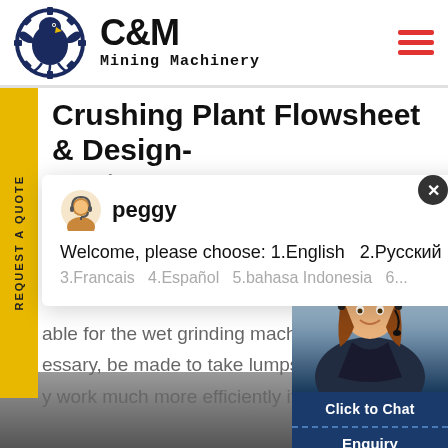[Figure (logo): C&M Mining Machinery logo with eagle gear emblem and company name]
Crushing Plant Flowsheet & Design-yout
[Figure (screenshot): Chat popup from agent named peggy with welcome message: Welcome, please choose: 1.English 2.Русский 3.Francais 4.Español 5.bahasa Indonesia 6...]
able for the wet grinding machi essary, be made to take lumps y work much more efficiently if
[Figure (photo): Customer service agent photo with Click to Chat button and Enquiry section at bottom right]
Enquiry